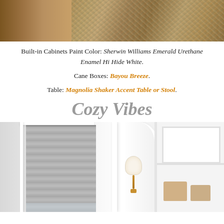[Figure (photo): Close-up photo of a wood floor and patterned area rug with floral/botanical motifs in beige, tan and soft blue-green tones]
Built-in Cabinets Paint Color: Sherwin Williams Emerald Urethane Enamel Hi Hide White.
Cane Boxes: Bayou Breeze.
Table: Magnolia Shaker Accent Table or Stool.
Cozy Vibes
[Figure (photo): Interior room photo showing a window with a gray roman shade/blind, white window trim molding, a brass wall sconce with white drum shade, and white built-in shelving with woven baskets]